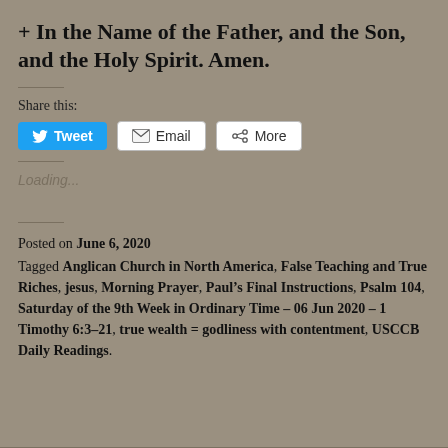+ In the Name of the Father, and the Son, and the Holy Spirit. Amen.
Share this:
[Figure (screenshot): Social share buttons: Tweet (blue Twitter button), Email (envelope icon), More (share icon)]
Loading...
Posted on June 6, 2020 Tagged Anglican Church in North America, False Teaching and True Riches, jesus, Morning Prayer, Paul’s Final Instructions, Psalm 104, Saturday of the 9th Week in Ordinary Time – 06 Jun 2020 – 1 Timothy 6:3–21, true wealth = godliness with contentment, USCCB Daily Readings.